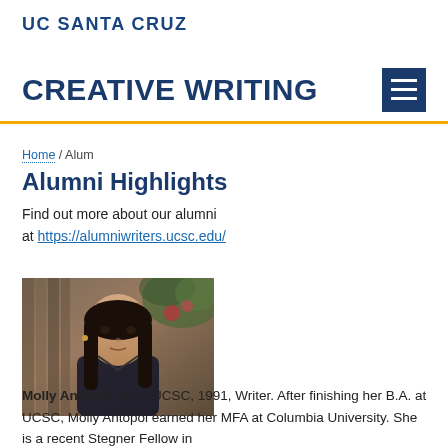UC SANTA CRUZ
CREATIVE WRITING
Home / Alum
Alumni Highlights
Find out more about our alumni at https://alumniwriters.ucsc.edu/
[Figure (photo): Headshot photo of Molly Antopol, a woman with long dark hair wearing a dark shirt]
Molly Antopol- B.A., UCSC, 1991, Writer.  After finishing her B.A. at UCSC, Molly Antopol earned her MFA at Columbia University.  She is a recent Stegner Fellow in